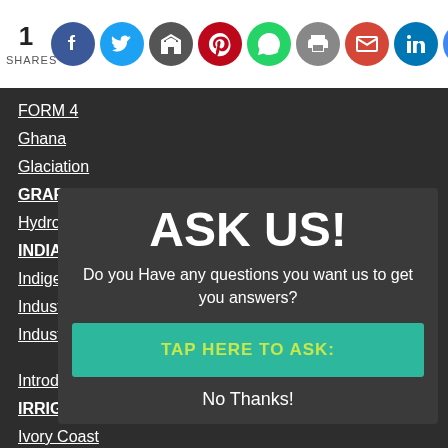1 SHARES — social share bar with Facebook, Twitter, Email, Pinterest, WhatsApp, Print, Gmail, LinkedIn, Google icons
FORM 4
Ghana
Glaciation
GRAPHS
Hydrological-cycle
INDIA
Indigenous Beef Cattle
Industrialization
Industry
Introduction-to-geography
IRRIGATION
Ivory Coast
JAPAN
Kcse-1996
Kcse-1997
Kcse-1998
[Figure (infographic): Modal popup overlay with title 'ASK US!', subtitle 'Do you Have any questions you want us to get you answers?', a teal button 'TAP HERE TO ASK:', and 'No Thanks!' text link]
ASK US!
Do you Have any questions you want us to get you answers?
TAP HERE TO ASK:
No Thanks!